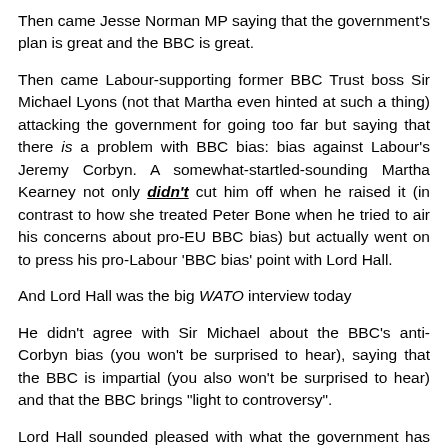Then came Jesse Norman MP saying that the government's plan is great and the BBC is great.
Then came Labour-supporting former BBC Trust boss Sir Michael Lyons (not that Martha even hinted at such a thing) attacking the government for going too far but saying that there is a problem with BBC bias: bias against Labour's Jeremy Corbyn. A somewhat-startled-sounding Martha Kearney not only didn't cut him off when he raised it (in contrast to how she treated Peter Bone when he tried to air his concerns about pro-EU BBC bias) but actually went on to press his pro-Labour 'BBC bias' point with Lord Hall.
And Lord Hall was the big WATO interview today
He didn't agree with Sir Michael about the BBC's anti-Corbyn bias (you won't be surprised to hear), saying that the BBC is impartial (you also won't be surprised to hear) and that the BBC brings "light to controversy".
Lord Hall sounded pleased with what the government has announced. The BBC's Martha (partly) pressed him largely...